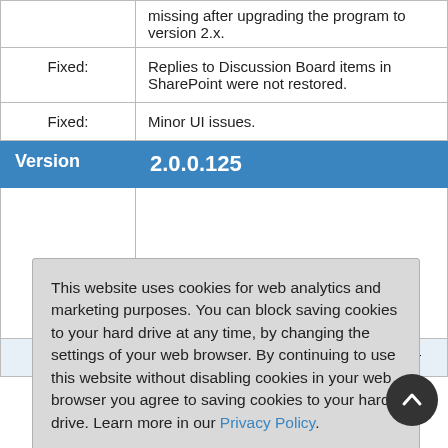| Label | Description |
| --- | --- |
|  | missing after upgrading the program to version 2.x. |
| Fixed: | Replies to Discussion Board items in SharePoint were not restored. |
| Fixed: | Minor UI issues. |
| Version | 2.0.0.125 |
| New: | Office 365 Germany is now supported for |
This website uses cookies for web analytics and marketing purposes. You can block saving cookies to your hard drive at any time, by changing the settings of your web browser. By continuing to use this website without disabling cookies in your web browser you agree to saving cookies to your hard drive. Learn more in our Privacy Policy.